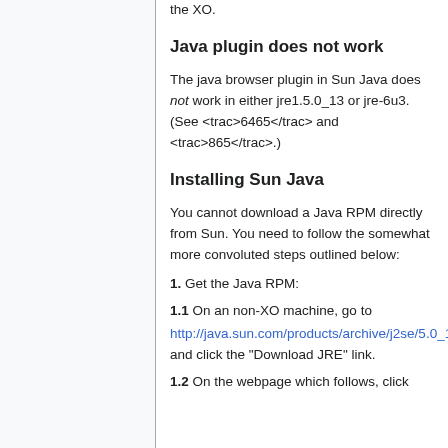the XO.
Java plugin does not work
The java browser plugin in Sun Java does not work in either jre1.5.0_13 or jre-6u3. (See <trac>6465</trac> and <trac>865</trac>.)
Installing Sun Java
You cannot download a Java RPM directly from Sun. You need to follow the somewhat more convoluted steps outlined below:
1. Get the Java RPM:
1.1 On an non-XO machine, go to http://java.sun.com/products/archive/j2se/5.0_13/index.html and click the "Download JRE" link.
1.2 On the webpage which follows, click